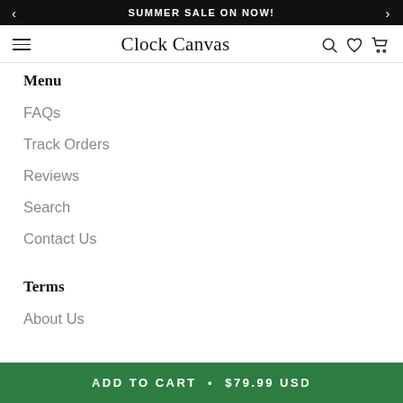SUMMER SALE ON NOW!
Clock Canvas
Menu
FAQs
Track Orders
Reviews
Search
Contact Us
Terms
About Us
ADD TO CART • $79.99 USD